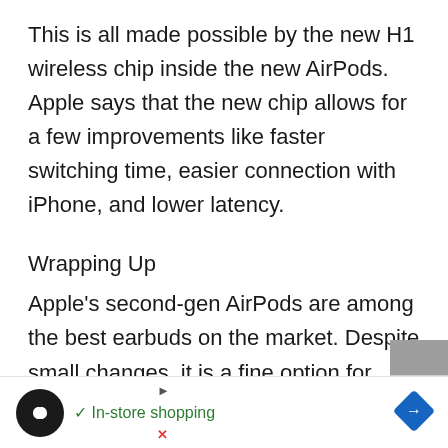This is all made possible by the new H1 wireless chip inside the new AirPods. Apple says that the new chip allows for a few improvements like faster switching time, easier connection with iPhone, and lower latency.
Wrapping Up
Apple's second-gen AirPods are among the best earbuds on the market. Despite small changes, it is a fine option for those who never have an Apple AirPods. If you now have the f[...] is no
[Figure (screenshot): Ad banner at bottom of page showing an infinity loop icon in a black circle, a green checkmark with 'In-store shopping' text, a blue diamond-shaped arrow icon, and close/play controls.]